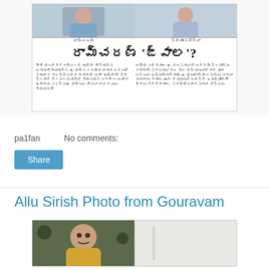[Figure (photo): Newspaper clipping with Telugu headline about Ram Charan, with two photos at top and Telugu body text in two columns]
pa1fan    No comments:
Share
Allu Sirish Photo from Gouravam
[Figure (photo): Photo of a young man (Allu Sirish) smiling, with dark background on left and light background on right]